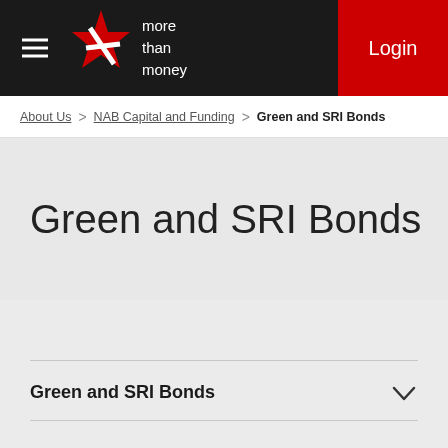more than money — Login
About Us > NAB Capital and Funding > Green and SRI Bonds
Green and SRI Bonds
Green and SRI Bonds